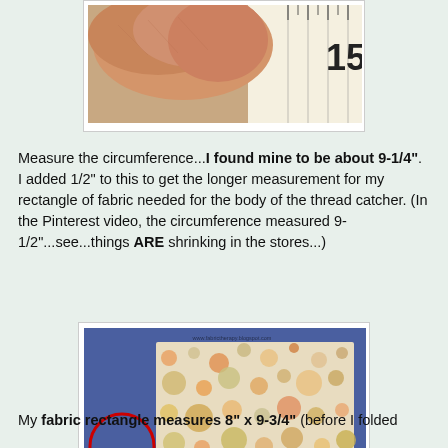[Figure (photo): Close-up of fingers holding fabric against a ruler showing measurement at 15]
Measure the circumference...I found mine to be about 9-1/4".  I added 1/2" to this to get the longer measurement for my rectangle of fabric needed for the body of the thread catcher.  (In the Pinterest video, the circumference measured 9-1/2"...see...things ARE shrinking in the stores...)
[Figure (photo): Photo showing a circular lid/ring next to a rectangle of patterned fabric on blue background, with watermark www.fabrictherapy.blogspot.com]
My fabric rectangle measures 8" x 9-3/4" (before I folded